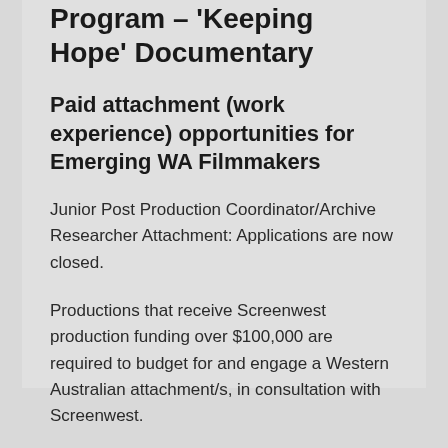Program – 'Keeping Hope' Documentary
Paid attachment (work experience) opportunities for Emerging WA Filmmakers
Junior Post Production Coordinator/Archive Researcher Attachment: Applications are now closed.
Productions that receive Screenwest production funding over $100,000 are required to budget for and engage a Western Australian attachment/s, in consultation with Screenwest.